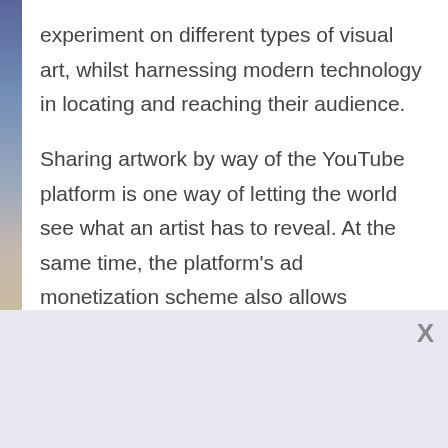experiment on different types of visual art, whilst harnessing modern technology in locating and reaching their audience.
Sharing artwork by way of the YouTube platform is one way of letting the world see what an artist has to reveal. At the same time, the platform's ad monetization scheme also allows struggling artists to earn on the side. Social media marketers on the other hand, offer help by providing them with resources that